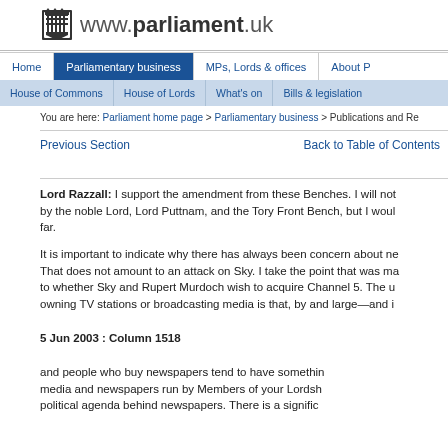www.parliament.uk
Home | Parliamentary business | MPs, Lords & offices | About P
House of Commons | House of Lords | What's on | Bills & legislation
You are here: Parliament home page > Parliamentary business > Publications and Re
Previous Section    Back to Table of Contents
Lord Razzall: I support the amendment from these Benches. I will not by the noble Lord, Lord Puttnam, and the Tory Front Bench, but I woul far.
It is important to indicate why there has always been concern about ne That does not amount to an attack on Sky. I take the point that was ma to whether Sky and Rupert Murdoch wish to acquire Channel 5. The u owning TV stations or broadcasting media is that, by and large—and i
5 Jun 2003 : Column 1518
and people who buy newspapers tend to have somethin media and newspapers run by Members of your Lordsh political agenda behind newspapers. There is a signific